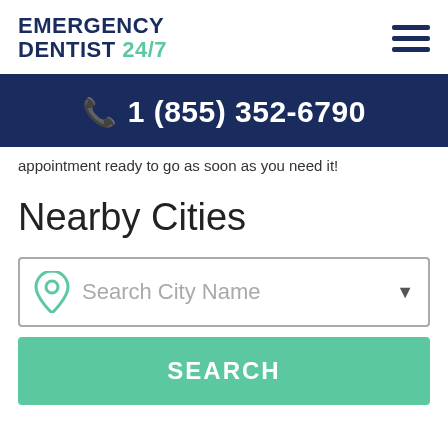EMERGENCY DENTIST 24/7
1 (855) 352-6790
appointment ready to go as soon as you need it!
Nearby Cities
Search City Name
SEARCH